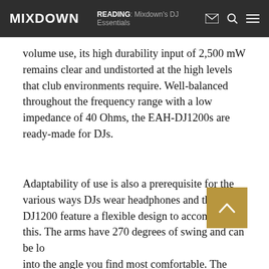MIXDOWN  READING: Mixdown's DJ Essentials
volume use, its high durability input of 2,500 mW remains clear and undistorted at the high levels that club environments require. Well-balanced throughout the frequency range with a low impedance of 40 Ohms, the EAH-DJ1200s are ready-made for DJs.
Adaptability of use is also a prerequisite for the various ways DJs wear headphones and the EAH-DJ1200 feature a flexible design to accommodate this. The arms have 270 degrees of swing and can be locked into the angle you find most comfortable. The lightweight on-ear design can be folded compactly for the fast, mobile lifestyle of working DJs. A detachable